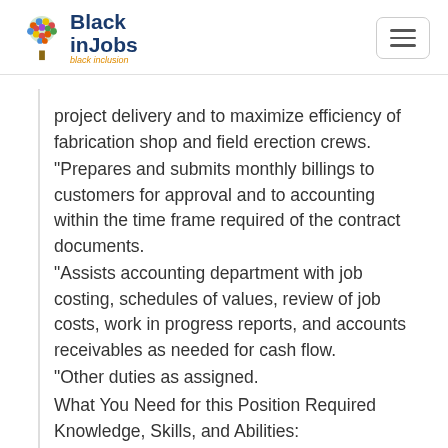[Figure (logo): BlackInJobs logo with colorful tree icon and text 'Black inJobs' in dark blue with tagline 'black inclusion' in orange]
project delivery and to maximize efficiency of fabrication shop and field erection crews.
"Prepares and submits monthly billings to customers for approval and to accounting within the time frame required of the contract documents.
"Assists accounting department with job costing, schedules of values, review of job costs, work in progress reports, and accounts receivables as needed for cash flow.
"Other duties as assigned.
What You Need for this Position Required Knowledge, Skills, and Abilities: